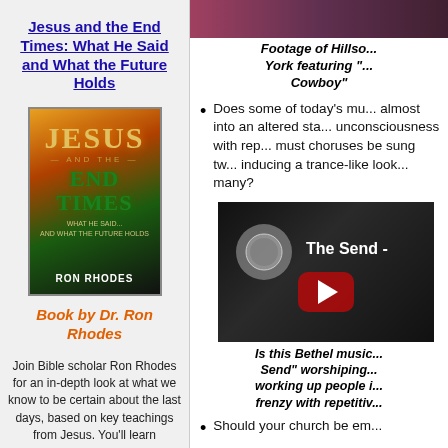Jesus and the End Times: What He Said and What the Future Holds
[Figure (photo): Book cover of 'Jesus and the End Times' by Ron Rhodes]
Book by Dr. Ron Rhodes
Join Bible scholar Ron Rhodes for an in-depth look at what we know to be certain about the last days, based on key teachings from Jesus. You'll learn
[Figure (photo): Footage of Hillso... New York featuring '...' Cowboy']
Footage of Hillso... New York featuring "..." Cowboy"
Does some of today's mu... almost into an altered sta... unconsciousness with rep... must choruses be sung tw... inducing a trance-like look... many?
[Figure (screenshot): Video thumbnail: The Send - video with play button]
Is this Bethel music... Send" worshiping... working up people i... frenzy with repetitiv...
Should your church be em...